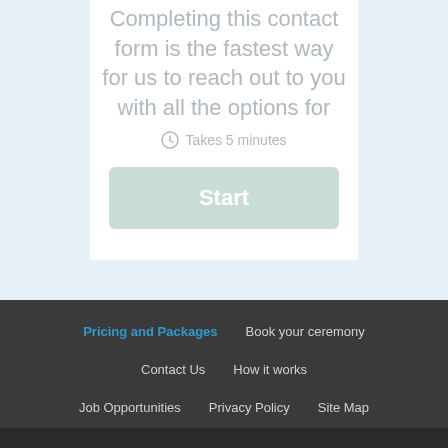Completing this contact form is the fastest way for us to reach out to you with all the options for
Takes 5 minutes
Start
Pricing and Packages | Book your ceremony | Contact Us | How it works | Job Opportunities | Privacy Policy | Site Map